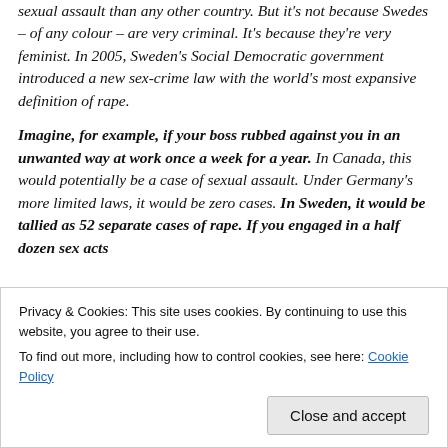sexual assault than any other country. But it's not because Swedes – of any colour – are very criminal. It's because they're very feminist. In 2005, Sweden's Social Democratic government introduced a new sex-crime law with the world's most expansive definition of rape.
Imagine, for example, if your boss rubbed against you in an unwanted way at work once a week for a year. In Canada, this would potentially be a case of sexual assault. Under Germany's more limited laws, it would be zero cases. In Sweden, it would be tallied as 52 separate cases of rape. If you engaged in a half dozen sex acts...
Privacy & Cookies: This site uses cookies. By continuing to use this website, you agree to their use.
To find out more, including how to control cookies, see here: Cookie Policy